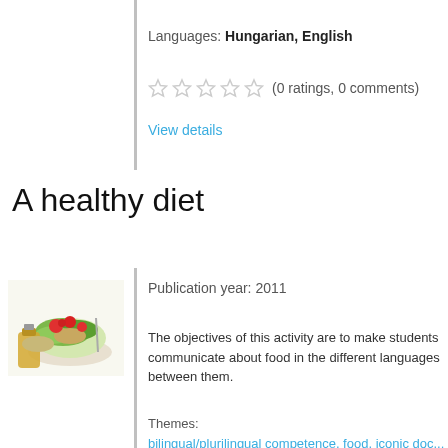Languages: Hungarian, English
(0 ratings, 0 comments)
View details
A healthy diet
Publication year: 2011
[Figure (photo): Photo of a salad bowl with vegetables, tomatoes, and a jar of olive oil]
The objectives of this activity are to make students communicate about food in the different languages between them.
Themes:
bilingual/plurilingual competence, food, iconic doc...